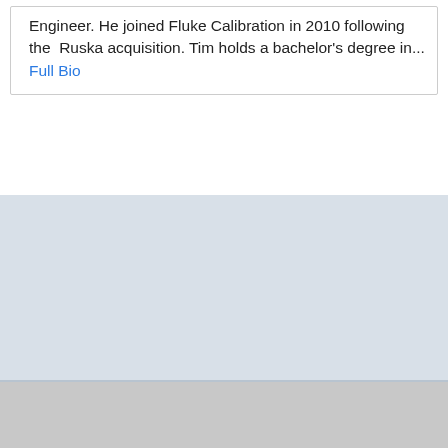Engineer. He joined Fluke Calibration in 2010 following the Ruska acquisition. Tim holds a bachelor's degree in... Full Bio
[Figure (other): Light blue-gray rectangular banner/advertisement area]
©1995-2022 Fluke Corporation
[Figure (other): Social media icons: LinkedIn, Twitter, Facebook, YouTube, Forum, Community, RSS]
Disclaimer  Privacy Statement  Terms of Use  Terms of Sale